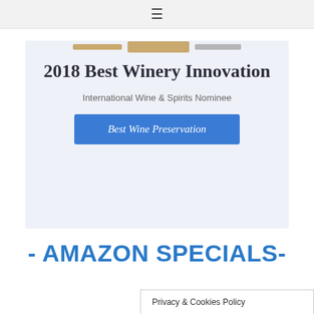≡
[Figure (illustration): Partial view of wine bottle top in gold/tan color at top of card area]
2018 Best Winery Innovation
International Wine & Spirits Nominee
Best Wine Preservation
- AMAZON SPECIALS-
Privacy & Cookies Policy